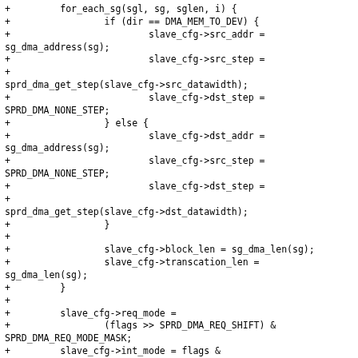+         for_each_sg(sgl, sg, sglen, i) {
+                 if (dir == DMA_MEM_TO_DEV) {
+                         slave_cfg->src_addr =
sg_dma_address(sg);
+                         slave_cfg->src_step =
+
sprd_dma_get_step(slave_cfg->src_datawidth);
+                         slave_cfg->dst_step =
SPRD_DMA_NONE_STEP;
+                 } else {
+                         slave_cfg->dst_addr =
sg_dma_address(sg);
+                         slave_cfg->src_step =
SPRD_DMA_NONE_STEP;
+                         slave_cfg->dst_step =
+
sprd_dma_get_step(slave_cfg->dst_datawidth);
+                 }
+
+                 slave_cfg->block_len = sg_dma_len(sg);
+                 slave_cfg->transcation_len =
sg_dma_len(sg);
+         }
+
+         slave_cfg->req_mode =
+                 (flags >> SPRD_DMA_REQ_SHIFT) &
SPRD_DMA_REQ_MODE_MASK;
+         slave_cfg->int_mode = flags &
SPRD_DMA_INT_MASK;
+